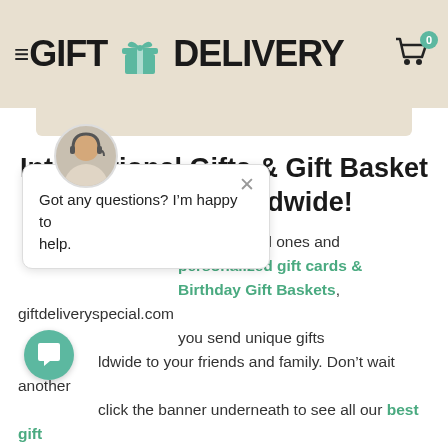GIFT DELIVERY [logo with cart icon, badge: 0]
International Gifts & Gift Basket Delivery Worldwide!
[Figure (illustration): Chat popup with headset agent avatar, close X button, and text: Got any questions? I'm happy to help.]
for your loved ones and personalized gift cards & Birthday Gift Baskets, giftdeliveryspecial.com help you send unique gifts worldwide to your friends and family. Don't wait another click the banner underneath to see all our best gift baskets & unique gift ideas!
[Figure (illustration): Green circular chat bubble button at bottom left]